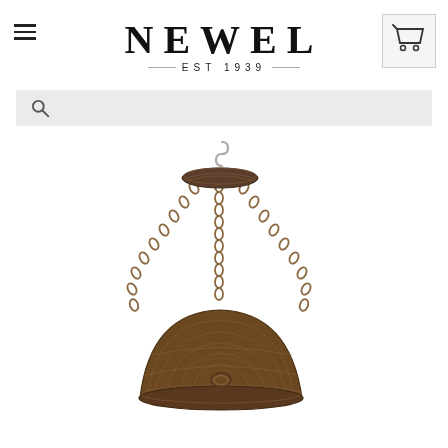NEWEL EST 1939 — navigation header with hamburger menu and cart icon
[Figure (screenshot): Search bar with magnifying glass icon on light grey background]
[Figure (photo): Wicker/rattan hanging pendant light chandelier with chain suspension and dome shade, photographed on white background]